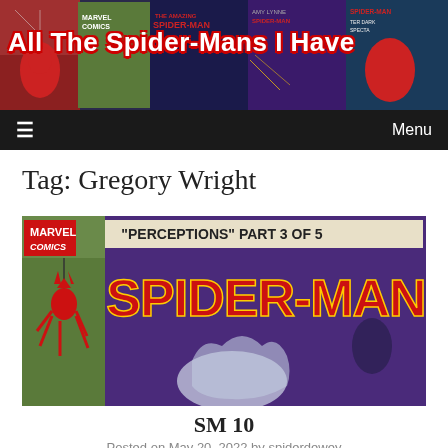[Figure (illustration): Blog site header banner showing collage of Spider-Man comic book covers with the site title 'All The Spider-Mans I Have' overlaid in large white/red text]
≡  Menu
Tag: Gregory Wright
[Figure (photo): Spider-Man comic book cover showing 'PERCEPTIONS PART 3 OF 5' with SPIDER-MAN logo in large red/yellow letters on purple background, Marvel Comics branding, with a figure on the left side]
SM 10
Posted on May 20, 2022 by spiderdewey